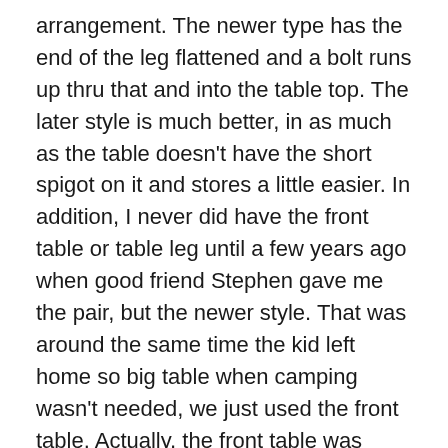arrangement. The newer type has the end of the leg flattened and a bolt runs up thru that and into the table top. The later style is much better, in as much as the table doesn't have the short spigot on it and stores a little easier. In addition, I never did have the front table or table leg until a few years ago when good friend Stephen gave me the pair, but the newer style. That was around the same time the kid left home so big table when camping wasn't needed, we just used the front table. Actually, the front table was used much more often in the Swellegant™ conformation.
But then the other day I was poking around in the first circle of hell, aka the home workshop, and found two late model large table tops. I had forgotten that same good friend Stephen had dropped them off after salvaging the